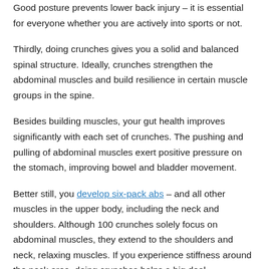Good posture prevents lower back injury – it is essential for everyone whether you are actively into sports or not.
Thirdly, doing crunches gives you a solid and balanced spinal structure. Ideally, crunches strengthen the abdominal muscles and build resilience in certain muscle groups in the spine.
Besides building muscles, your gut health improves significantly with each set of crunches. The pushing and pulling of abdominal muscles exert positive pressure on the stomach, improving bowel and bladder movement.
Better still, you develop six-pack abs – and all other muscles in the upper body, including the neck and shoulders. Although 100 crunches solely focus on abdominal muscles, they extend to the shoulders and neck, relaxing muscles. If you experience stiffness around the neck area, doing crunches helps a big deal.